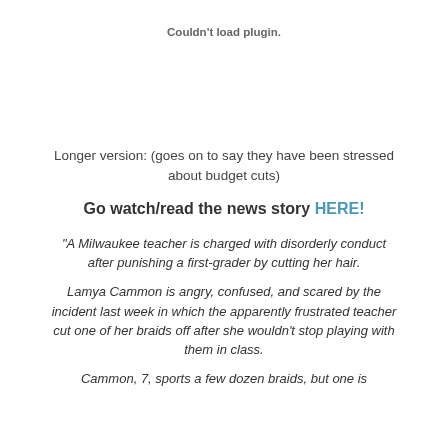Couldn't load plugin.
Longer version: (goes on to say they have been stressed about budget cuts)
Go watch/read the news story HERE!
"A Milwaukee teacher is charged with disorderly conduct after punishing a first-grader by cutting her hair.
Lamya Cammon is angry, confused, and scared by the incident last week in which the apparently frustrated teacher cut one of her braids off after she wouldn't stop playing with them in class.
Cammon, 7, sports a few dozen braids, but one is